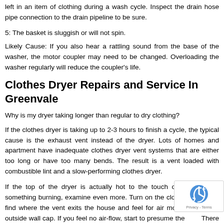left in an item of clothing during a wash cycle. Inspect the drain hose pipe connection to the drain pipeline to be sure.
5: The basket is sluggish or will not spin.
Likely Cause: If you also hear a rattling sound from the base of the washer, the motor coupler may need to be changed. Overloading the washer regularly will reduce the coupler's life.
Clothes Dryer Repairs and Service In Greenvale
Why is my dryer taking longer than regular to dry clothing?
If the clothes dryer is taking up to 2-3 hours to finish a cycle, the typical cause is the exhaust vent instead of the dryer. Lots of homes and apartment have inadequate clothes dryer vent systems that are either too long or have too many bends. The result is a vent loaded with combustible lint and a slow-performing clothes dryer.
If the top of the dryer is actually hot to the touch or if you smell something burning, examine even more. Turn on the clothes dryer and find where the vent exits the house and feel for air movement at the outside wall cap. If you feel no air-flow, start to presume the vent. There are numerous reputable vent cleaning business in Greenvale and this is a property owner's task that should never ever be